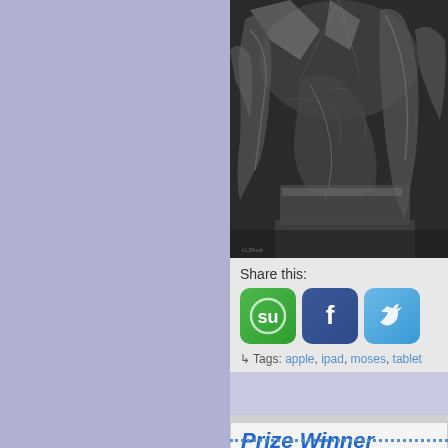[Figure (illustration): Black and white engraving-style illustration showing robed biblical figures in a dramatic scene, possibly depicting Moses or a similar biblical story. Multiple figures in flowing robes are gathered around what appears to be a stone surface.]
Share this:
[Figure (other): Three social sharing buttons: StumbleUpon (green with 'su' logo), Facebook (blue with 'f' logo), Twitter (light blue with bird logo)]
Tags: apple, ipad, moses, tablet
Prize Winner
by DJ Bogtrotter on January 17, 2010 at 3:
Posted In: Blog